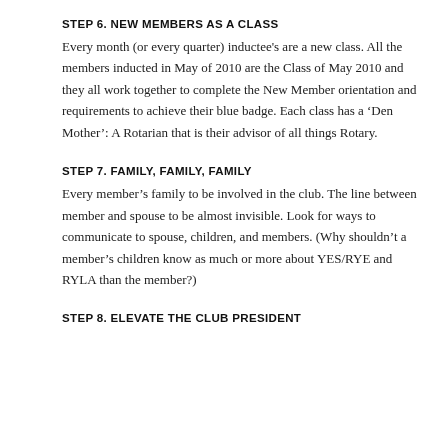STEP 6.  NEW MEMBERS AS A CLASS
Every month (or every quarter) inductee's are a new class.   All the members inducted in May of 2010 are the Class of May 2010 and they all work together to complete the New Member orientation and requirements to achieve their blue badge.  Each class has a ‘Den Mother’: A Rotarian that is their advisor of all things Rotary.
STEP 7.  FAMILY, FAMILY, FAMILY
Every member's family to be involved in the club. The line between member and spouse to be almost invisible.   Look for ways to communicate to spouse, children, and members.  (Why shouldn’t a member's children know as much or more about YES/RYE and RYLA than the member?)
STEP 8.  ELEVATE THE CLUB PRESIDENT